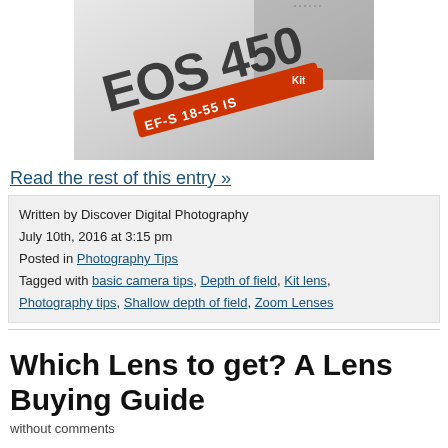[Figure (photo): Close-up photo of a Canon EOS 450 camera body with EF-S 18-55 IS Kit lens label in orange/red]
Read the rest of this entry »
Written by Discover Digital Photography
July 10th, 2016 at 3:15 pm
Posted in Photography Tips
Tagged with basic camera tips, Depth of field, Kit lens, Photography tips, Shallow depth of field, Zoom Lenses
Which Lens to get? A Lens Buying Guide
without comments
If you have an interchangeable lens camera and you're